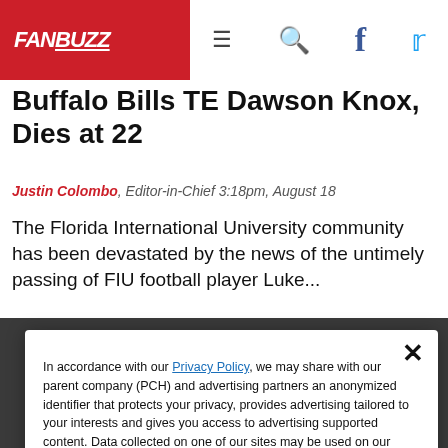FANBUZZ
Buffalo Bills TE Dawson Knox, Dies at 22
Justin Colombo, Editor-in-Chief 3:18pm, August 18
The Florida International University community has been devastated by the news of the untimely passing of FIU football player Luke...
In accordance with our Privacy Policy, we may share with our parent company (PCH) and advertising partners an anonymized identifier that protects your privacy, provides advertising tailored to your interests and gives you access to advertising supported content. Data collected on one of our sites may be used on our other owned and operated sites, which sites are identified in our Privacy Policy. All of our sites are governed by the same Privacy Policy, and by proceeding to access this site, you are consenting to that Privacy Policy.